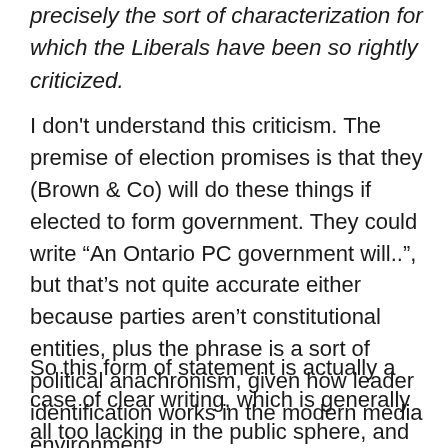precisely the sort of characterization for which the Liberals have been so rightly criticized.
I don't understand this criticism. The premise of election promises is that they (Brown & Co) will do these things if elected to form government. They could write “An Ontario PC government will..”, but that’s not quite accurate either because parties aren’t constitutional entities, plus the phrase is a sort of political anachronism, given how leader identification works in the modern media environment.
So this form of statement is actually a case of clear writing, which is generally all too lacking in the public sphere, and so when encountered, an outcome I’d hope we all want to encourage.